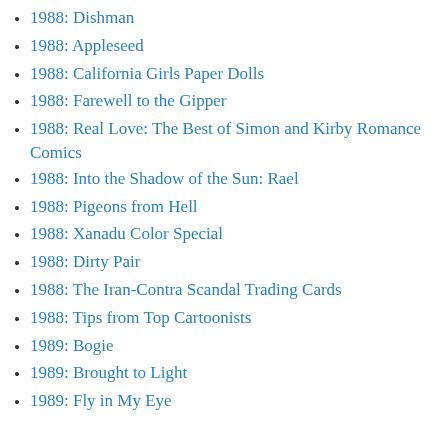1988: Dishman
1988: Appleseed
1988: California Girls Paper Dolls
1988: Farewell to the Gipper
1988: Real Love: The Best of Simon and Kirby Romance Comics
1988: Into the Shadow of the Sun: Rael
1988: Pigeons from Hell
1988: Xanadu Color Special
1988: Dirty Pair
1988: The Iran-Contra Scandal Trading Cards
1988: Tips from Top Cartoonists
1989: Bogie
1989: Brought to Light
1989: Fly in My Eye